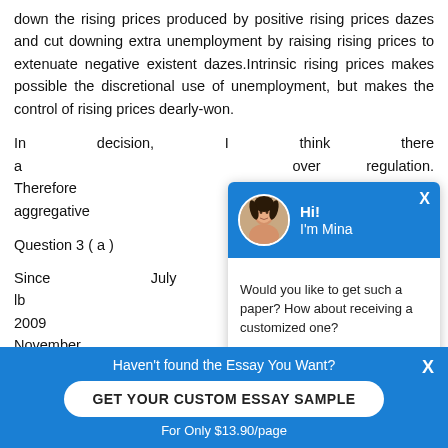down the rising prices produced by positive rising prices dazes and cut downing extra unemployment by raising rising prices to extenuate negative existent dazes.Intrinsic rising prices makes possible the discretional use of unemployment, but makes the control of rising prices dearly-won.
In decision, I think there a... over regulation. Therefore... command the aggregative...
Question 3 ( a )
Since July 2008, the lb... dollar. During March 2009... dollar – but in November... land – sterling has deprec...
The lb has depreciated against the Euro since Octobe...
[Figure (screenshot): Chat popup overlay with avatar photo of a woman named Mina, blue header, and message asking 'Would you like to get such a paper? How about receiving a customized one?' with 'Check it out' link]
Haven't found the Essay You Want?
GET YOUR CUSTOM ESSAY SAMPLE
For Only $13.90/page